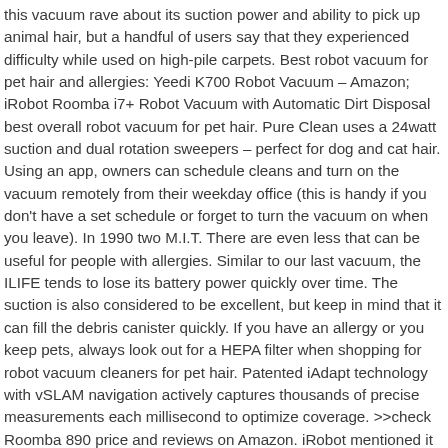this vacuum rave about its suction power and ability to pick up animal hair, but a handful of users say that they experienced difficulty while used on high-pile carpets. Best robot vacuum for pet hair and allergies: Yeedi K700 Robot Vacuum – Amazon; iRobot Roomba i7+ Robot Vacuum with Automatic Dirt Disposal best overall robot vacuum for pet hair. Pure Clean uses a 24watt suction and dual rotation sweepers – perfect for dog and cat hair. Using an app, owners can schedule cleans and turn on the vacuum remotely from their weekday office (this is handy if you don't have a set schedule or forget to turn the vacuum on when you leave). In 1990 two M.I.T. There are even less that can be useful for people with allergies. Similar to our last vacuum, the ILIFE tends to lose its battery power quickly over time. The suction is also considered to be excellent, but keep in mind that it can fill the debris canister quickly. If you have an allergy or you keep pets, always look out for a HEPA filter when shopping for robot vacuum cleaners for pet hair. Patented iAdapt technology with vSLAM navigation actively captures thousands of precise measurements each millisecond to optimize coverage. >>check Roomba 890 price and reviews on Amazon. iRobot mentioned it picks up to 99% of allergens 10 microns or larger. This model was specifically designed with allergies and pets in mind. I didn't